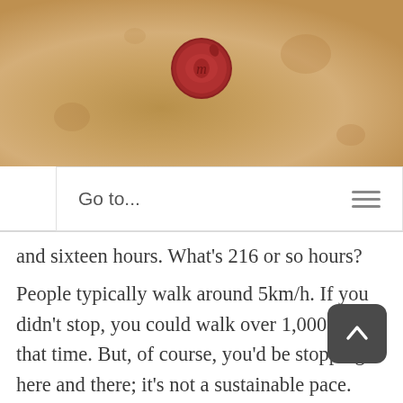[Figure (illustration): Tan/brown parchment-textured banner header with a red wax seal centered at top]
Go to...
and sixteen hours. What's 216 or so hours?
People typically walk around 5km/h. If you didn't stop, you could walk over 1,000 km in that time. But, of course, you'd be stopping here and there; it's not a sustainable pace. You'd also be slowed down depending on what you're carrying. For example, if you're fleeing your home in Kyiv and trying to get to the Polish border with only whatever you can carry on your back – if you could average